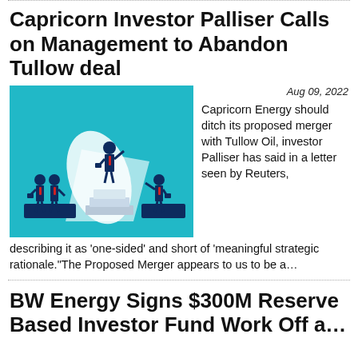Capricorn Investor Palliser Calls on Management to Abandon Tullow deal
[Figure (illustration): Business illustration on teal background showing stylized figures in suits: two figures on a dark platform on the left, one tall figure standing on stacked blocks in the center top, and one figure on the right near a dark platform, with a large white arrow/path shape in the middle ground.]
Aug 09, 2022
Capricorn Energy should ditch its proposed merger with Tullow Oil, investor Palliser has said in a letter seen by Reuters,
describing it as 'one-sided' and short of 'meaningful strategic rationale."The Proposed Merger appears to us to be a…
BW Energy Signs $300M Reserve Based Investor Fund Work Off a…